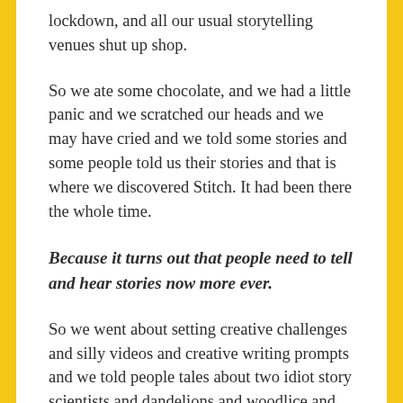lockdown, and all our usual storytelling venues shut up shop.
So we ate some chocolate, and we had a little panic and we scratched our heads and we may have cried and we told some stories and some people told us their stories and that is where we discovered Stitch. It had been there the whole time.
Because it turns out that people need to tell and hear stories now more ever.
So we went about setting creative challenges and silly videos and creative writing prompts and we told people tales about two idiot story scientists and dandelions and woodlice and people told us stories about space and friendship and journeys and kindness and together we started creating a story